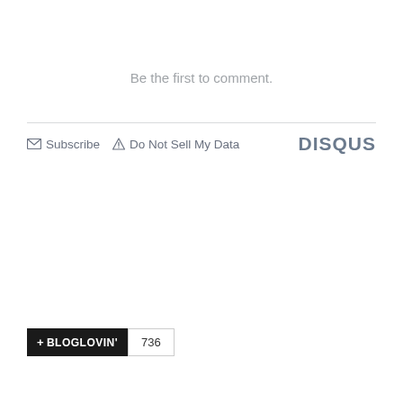Be the first to comment.
[Figure (screenshot): Disqus comment widget footer bar with Subscribe and Do Not Sell My Data links, and DISQUS branding on the right]
[Figure (screenshot): Bloglovin follow button with +BLOGLOVIN' label and count of 736]